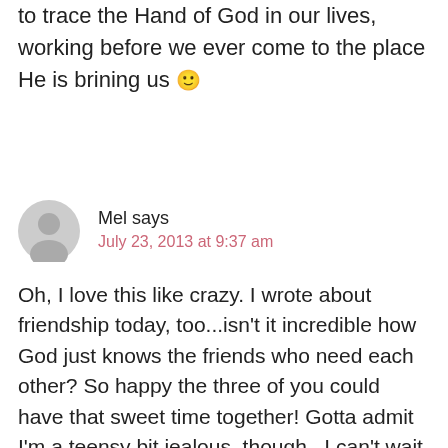When we stop and look it is such a beautiful thing to trace the Hand of God in our lives, working before we ever come to the place He is brining us 🙂
Mel says
July 23, 2013 at 9:37 am
Oh, I love this like crazy. I wrote about friendship today, too...isn't it incredible how God just knows the friends who need each other? So happy the three of you could have that sweet time together! Gotta admit I'm a teensy bit jealous, though...I can't wait for Allume and the chance to be amongst a few beautiful women in real...